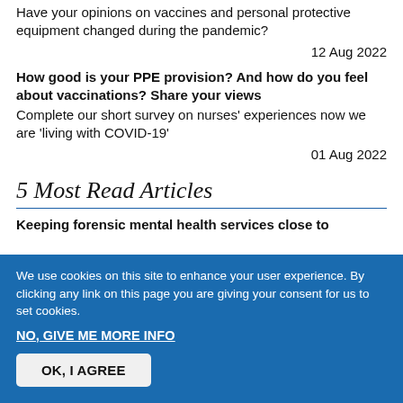Have your opinions on vaccines and personal protective equipment changed during the pandemic?
12 Aug 2022
How good is your PPE provision? And how do you feel about vaccinations? Share your views
Complete our short survey on nurses' experiences now we are 'living with COVID-19'
01 Aug 2022
5 Most Read Articles
Keeping forensic mental health services close to
We use cookies on this site to enhance your user experience. By clicking any link on this page you are giving your consent for us to set cookies.
NO, GIVE ME MORE INFO
OK, I AGREE